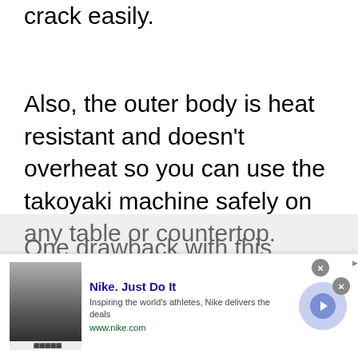crack easily.
Also, the outer body is heat resistant and doesn't overheat so you can use the takoyaki machine safely on any table or countertop.
One drawback with this device is the lack of a temperature control button or settings. Therefore, it only cooks the takoyaki on one temperature setting and some buyers complain that the heating is uneven, especially on the
[Figure (other): Advertisement overlay: Nike. Just Do It — Inspiring the world's athletes, Nike delivers the deals. www.nike.com. Shows a thumbnail image, Nike ad text, and a circular arrow button. Has close (x) buttons.]